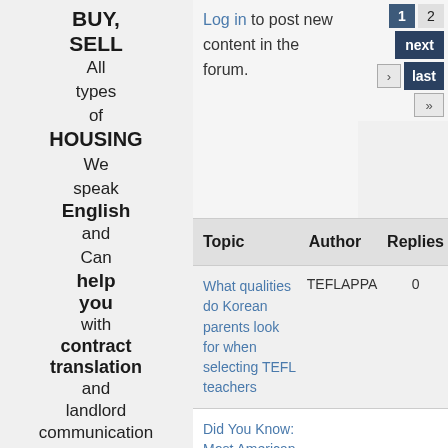BUY, SELL All types of HOUSING We speak English and Can help you with contract translation and landlord communication
Log in to post new content in the forum.
1  2  next  last  ›  »
| Topic | Author | Replies |
| --- | --- | --- |
| What qualities do Korean parents look for when selecting TEFL teachers | TEFLAPPA | 0 |
| Did You Know: Most American... |  |  |